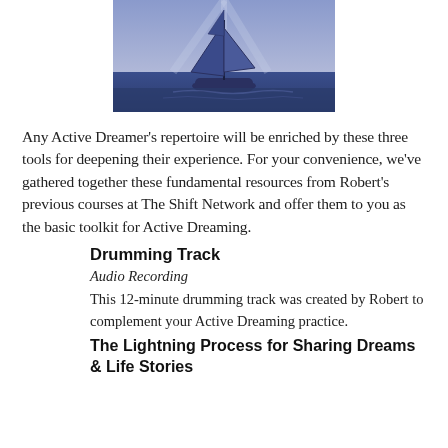[Figure (photo): Painting of a blue sailboat with large sails on the water]
Any Active Dreamer's repertoire will be enriched by these three tools for deepening their experience. For your convenience, we've gathered together these fundamental resources from Robert's previous courses at The Shift Network and offer them to you as the basic toolkit for Active Dreaming.
Drumming Track
Audio Recording
This 12-minute drumming track was created by Robert to complement your Active Dreaming practice.
The Lightning Process for Sharing Dreams & Life Stories